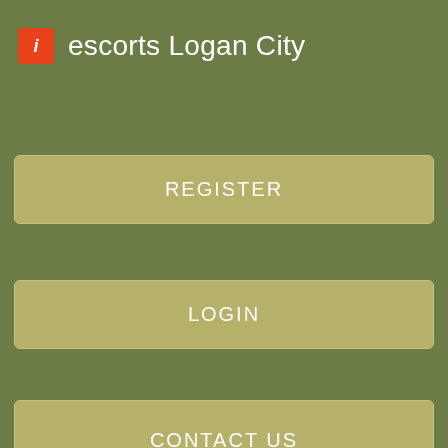escorts Logan City
REGISTER
LOGIN
CONTACT US
[Figure (photo): Dark textured background image, appears to be a night scene or dark fabric]
We really enjoyed the wine bar, and found ourselves migrating there most nights pre and post dinner. We are cruiess a cruise on one of the above lines in early July ' The options are Capt.